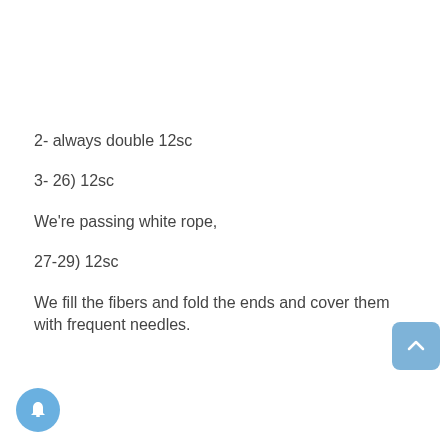2- always double 12sc
3- 26) 12sc
We're passing white rope,
27-29) 12sc
We fill the fibers and fold the ends and cover them with frequent needles.